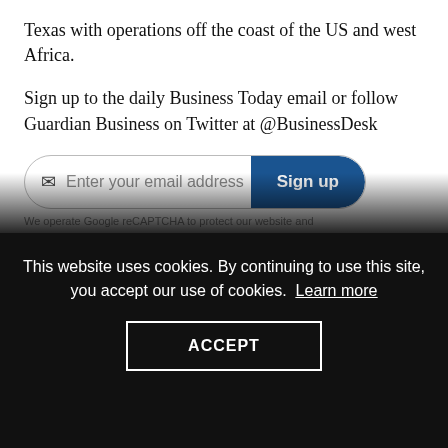Texas with operations off the coast of the US and west Africa.
Sign up to the daily Business Today email or follow Guardian Business on Twitter at @BusinessDesk
[Figure (other): Email signup widget with input field placeholder 'Enter your email address' and a blue 'Sign up' button]
We operate Google reCAPTCHA to protect our website and
In a letter to shareholders commenting on the last year, Inglis said: “We rebuilt operational momentum across the portfolio with a return to drilling in Ghana, Equatorial Guinea and the Gulf of
This website uses cookies. By continuing to use this site, you accept our use of cookies. Learn more
ACCEPT